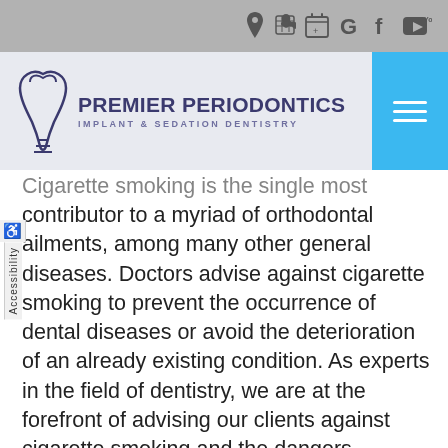[Figure (other): Top toolbar with location, phone, calendar, Google, Facebook, and YouTube icons on gray background]
[Figure (logo): Premier Periodontics Implant & Sedation Dentistry logo with tooth graphic and blue menu button]
Cigarette smoking is the single most contributor to a myriad of orthodontal ailments, among many other general diseases. Doctors advise against cigarette smoking to prevent the occurrence of dental diseases or avoid the deterioration of an already existing condition. As experts in the field of dentistry, we are at the forefront of advising our clients against cigarette smoking and the dangers associated with this harmful act. Tobacco is known to cause extreme